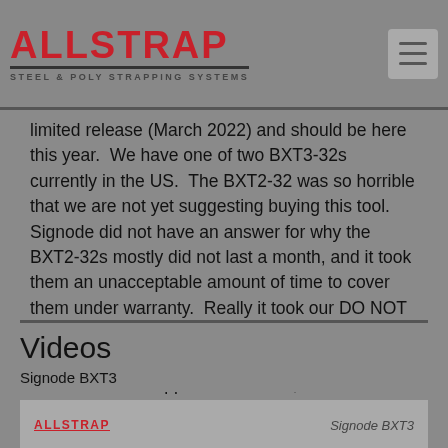ALLSTRAP STEEL & POLY STRAPPING SYSTEMS
limited release (March 2022) and should be here this year.  We have one of two BXT3-32s currently in the US.  The BXT2-32 was so horrible that we are not yet suggesting buying this tool.  Signode did not have an answer for why the BXT2-32s mostly did not last a month, and it took them an unacceptable amount of time to cover them under warranty.  Really it took our DO NOT BUY rating on the first google result to even get them talking about covering the BXT2-32.  Since we know what happened last time, we would suggest holding off until we have completed field testing of the Signode BXT3-32.
Videos
Signode BXT3
[Figure (screenshot): Video thumbnail showing Allstrap logo and Signode BXT3 title text on grey background]